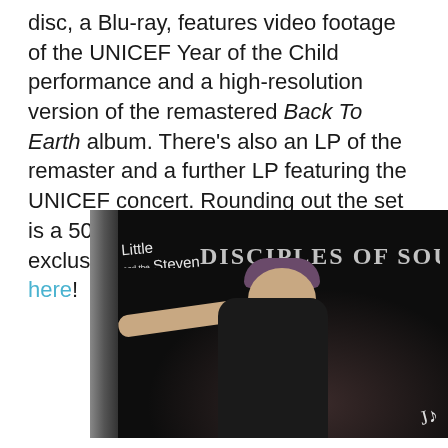disc, a Blu-ray, features video footage of the UNICEF Year of the Child performance and a high-resolution version of the remastered Back To Earth album. There's also an LP of the remaster and a further LP featuring the UNICEF concert. Rounding out the set is a 50-page hardback book and exclusive memorabilia. Read more here!
[Figure (photo): Album cover for Little Steven and the Disciples of Soul. Dark background with the band name in gothic lettering at the top. A person wearing a bandana/headscarf is shown reaching their arm out to the left side of the frame.]